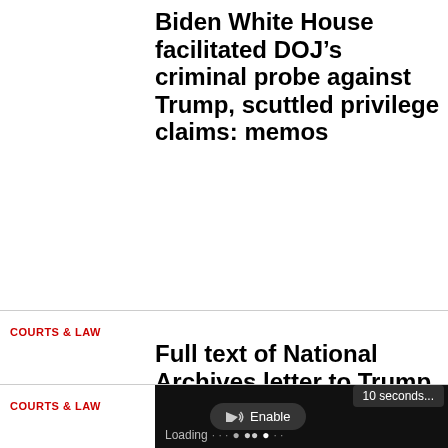Biden White House facilitated DOJ’s criminal probe against Trump, scuttled privilege claims: memos
COURTS & LAW
Full text of National Archives letter to Trump on classified documents
[Figure (screenshot): Video player overlay showing loading state with '10 seconds...' tooltip and 'Enable' audio button]
COURTS & LAW
In retrial, jury finds two men guilty of conspiring to kidnap